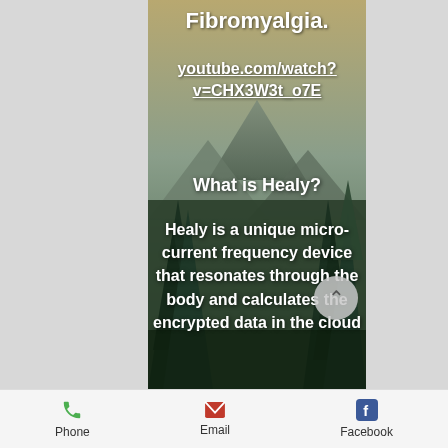[Figure (photo): Mobile website screenshot with mountain/forest background scene. Text overlaid on nature photo showing pine trees and mountains at dusk/dawn. Side panels are light grey. Navigation bar at bottom.]
Fibromyalgia.
youtube.com/watch?v=CHX3W3t_o7E
What is Healy?
Healy is a unique micro-current frequency device that resonates through the body and calculates the encrypted data in the cloud
Phone   Email   Facebook